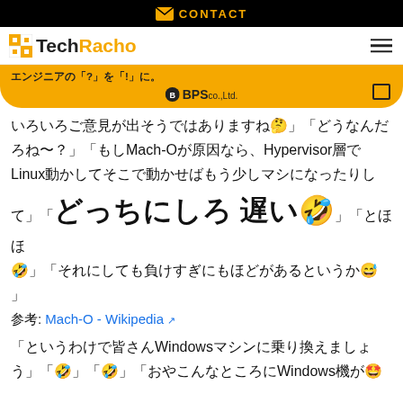CONTACT
TechRacho エンジニアの「?」を「!」に。 BPS co.,Ltd.
いろいろご意見が出そうではありますね🤔」「どうなんだろね〜？」「もしMach-Oが原因なら、Hypervisor層でLinux動かしてそこで動かせばもう少しマシになったりして」「どっちにしろ遅い🤣」「とほほ🤣」「それにしても負けすぎにもほどがあるというか😅」
参考: Mach-O - Wikipedia
「というわけで皆さんWindowsマシンに乗り換えましょう」「🤣」「🤣」「おやこんなところにWindows機が🤩」